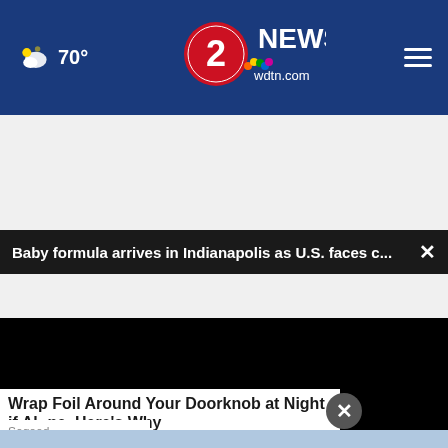70° | 2 News wdtn.com
Baby formula arrives in Indianapolis as U.S. faces c... ×
[Figure (screenshot): Black video player screen with scrubber bar, play button, mute button, 00:00 timestamp, and fullscreen button]
Wrap Foil Around Your Doorknob at Night if Alone, Here's Why
Sogood
[Figure (infographic): Ad Council banner: BELONGING BEGINS WITH US in white text on dark blue background with red underline]